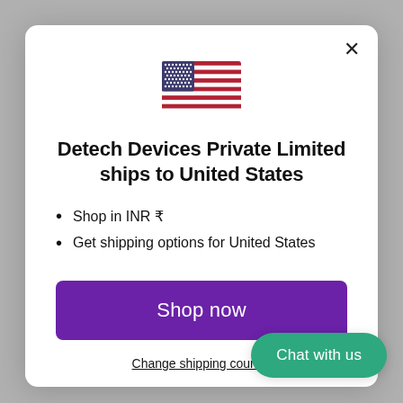[Figure (illustration): US flag emoji/icon centered at top of modal]
Detech Devices Private Limited ships to United States
Shop in INR ₹
Get shipping options for United States
Shop now
Change shipping country
Chat with us